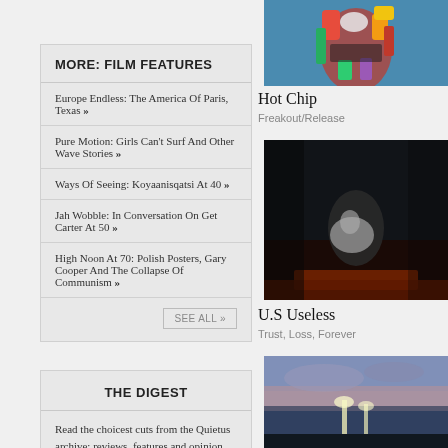MORE: FILM FEATURES
Europe Endless: The America Of Paris, Texas »
Pure Motion: Girls Can't Surf And Other Wave Stories »
Ways Of Seeing: Koyaanisqatsi At 40 »
Jah Wobble: In Conversation On Get Carter At 50 »
High Noon At 70: Polish Posters, Gary Cooper And The Collapse Of Communism »
SEE ALL »
[Figure (illustration): Colorful abstract artwork with figures on blue background - Hot Chip album art]
Hot Chip
Freakout/Release
[Figure (illustration): Dark moody painting with figure in dark setting - U.S Useless album art]
U.S Useless
Trust, Loss, Forever
[Figure (photo): Photo with lights and dramatic sky at dusk]
THE DIGEST
Read the choicest cuts from the Quietus archive: reviews, features and opinion